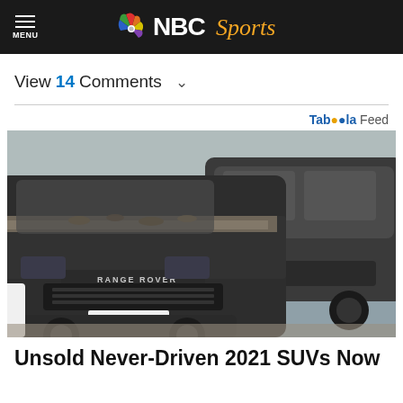NBC Sports
View 14 Comments
[Figure (photo): Two dirty dusty black SUVs side by side. The left one is a Range Rover with dust and leaves on the hood. A white vehicle is partially visible on the left edge.]
Taboola Feed
Unsold Never-Driven 2021 SUVs Now